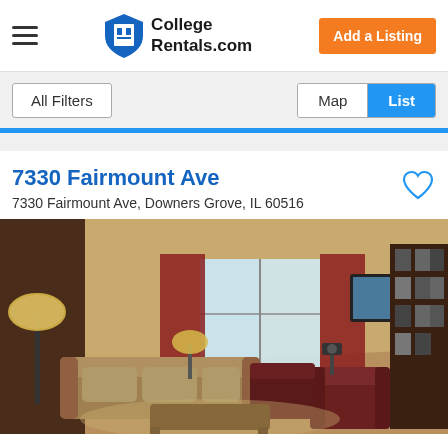College Rentals.com
All Filters
Map  List
7330 Fairmount Ave
7330 Fairmount Ave, Downers Grove, IL 60516
[Figure (photo): Interior photo of a furnished living room with sofas, lamps, curtains, a sliding glass door, and a wall-mounted TV.]